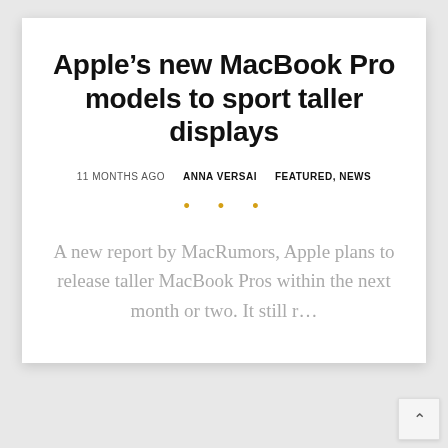Apple’s new MacBook Pro models to sport taller displays
11 MONTHS AGO   ANNA VERSAI   FEATURED, NEWS
A new report by MacRumors, Apple plans to release taller MacBook Pros within the next month or two. It still r...